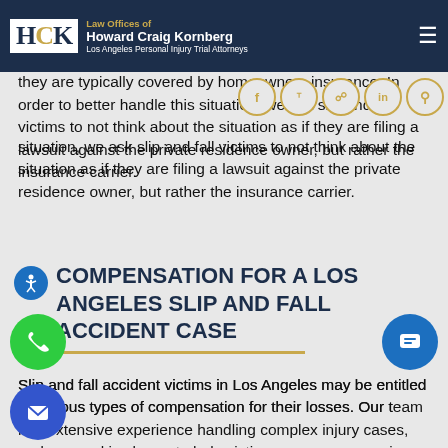Law Offices of Howard Craig Kornberg – Los Angeles Personal Injury Trial Attorneys
victims to be hesitant when it comes to filing claims. That is because they do not want to file a lawsuit against a friend or neighbor. However, slip and fall claims occur regularly, and they are typically covered by homeowners insurance. In order to better handle this situation, we ask slip and fall victims to not think about the situation as if they are filing a lawsuit against the private residence owner, but rather the insurance carrier.
COMPENSATION FOR A LOS ANGELES SLIP AND FALL ACCIDENT CASE
Slip and fall accident victims in Los Angeles may be entitled to various types of compensation for their losses. Our team has extensive experience handling complex injury cases, and our goal is always to help victims recover economic and non-economic compensation. This can include, but is not limited to, coverage of the following: